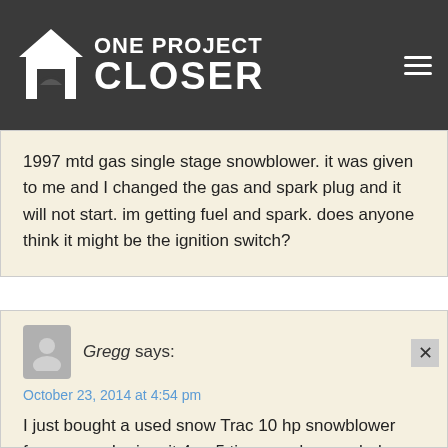One Project Closer
1997 mtd gas single stage snowblower. it was given to me and I changed the gas and spark plug and it will not start. im getting fuel and spark. does anyone think it might be the ignition switch?
Gregg says:
October 23, 2014 at 4:54 pm

I just bought a used snow Trac 10 hp snowblower from a guy. I prime it 4 or 5 times and open choke and put switch to rabbit and hit electric start and fires up right away AS LONG AS ITS PLUGGED IN. When not plugged in...